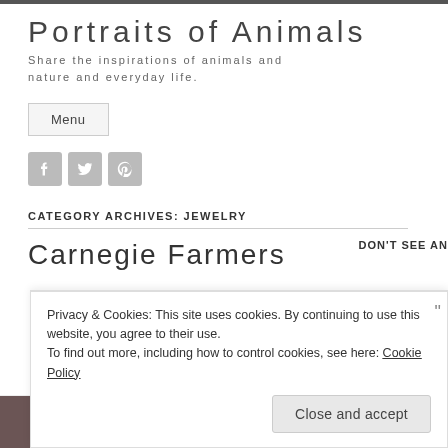Portraits of Animals
Share the inspirations of animals and nature and everyday life.
Menu
[Figure (other): Social media icon buttons for Facebook, Twitter, and Pinterest]
CATEGORY ARCHIVES: JEWELRY
Carnegie Farmers
DON'T SEE AN
Privacy & Cookies: This site uses cookies. By continuing to use this website, you agree to their use. To find out more, including how to control cookies, see here: Cookie Policy
Close and accept
Farmers Market